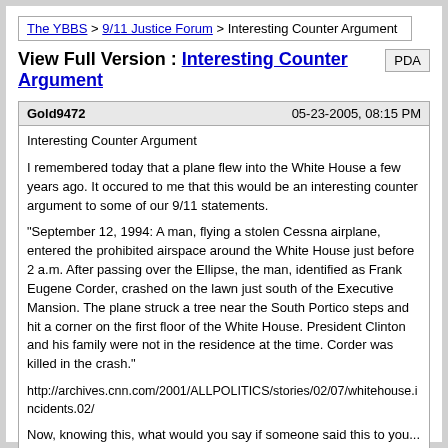The YBBS > 9/11 Justice Forum > Interesting Counter Argument
View Full Version : Interesting Counter Argument
| Gold9472 | 05-23-2005, 08:15 PM |
| --- | --- |
| Interesting Counter Argument

I remembered today that a plane flew into the White House a few years ago. It occured to me that this would be an interesting counter argument to some of our 9/11 statements.

"September 12, 1994: A man, flying a stolen Cessna airplane, entered the prohibited airspace around the White House just before 2 a.m. After passing over the Ellipse, the man, identified as Frank Eugene Corder, crashed on the lawn just south of the Executive Mansion. The plane struck a tree near the South Portico steps and hit a corner on the first floor of the White House. President Clinton and his family were not in the residence at the time. Corder was killed in the crash."

http://archives.cnn.com/2001/ALLPOLITICS/stories/02/07/whitehouse.incidents.02/

Now, knowing this, what would you say if someone said this to you...

"You people always talk about how P-56 is the most secure airspace in the world. That they have the best radar systems money can buy. Well, on September 12th, 1994, a plane hit the White House. Explain that..."

How would you respond to this? I know how I would... |  |
| Gold9472 | 05-23-2005, 08:33 PM |
| --- | --- |